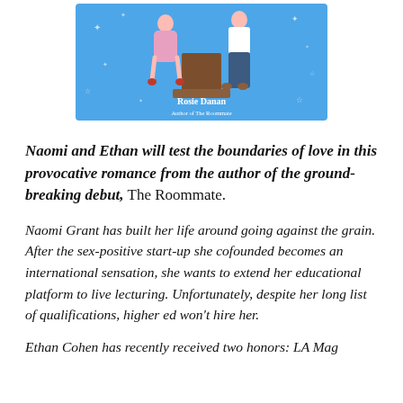[Figure (illustration): Book cover illustration showing two characters (a woman in a dress and a man in jeans) standing at a podium against a blue starry background. Text reads 'Rosie Danan, Author of The Roommate'.]
Naomi and Ethan will test the boundaries of love in this provocative romance from the author of the ground-breaking debut, The Roommate.
Naomi Grant has built her life around going against the grain. After the sex-positive start-up she cofounded becomes an international sensation, she wants to extend her educational platform to live lecturing. Unfortunately, despite her long list of qualifications, higher ed won't hire her.
Ethan Cohen has recently received two honors: LA Mag